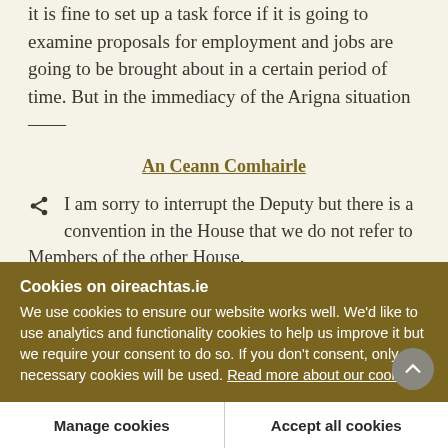it is fine to set up a task force if it is going to examine proposals for employment and jobs are going to be brought about in a certain period of time. But in the immediacy of the Arigna situation——
An Ceann Comhairle
I am sorry to interrupt the Deputy but there is a convention in the House that we do not refer to Members of the other House.
Cookies on oireachtas.ie
We use cookies to ensure our website works well. We'd like to use analytics and functionality cookies to help us improve it but we require your consent to do so. If you don't consent, only necessary cookies will be used. Read more about our cookies